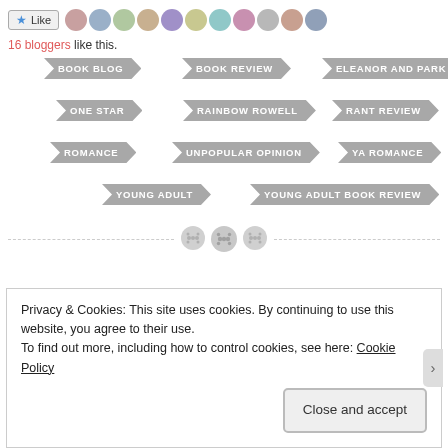[Figure (screenshot): Like button with star icon and a strip of blogger avatar photos]
16 bloggers like this.
BOOK BLOG
BOOK REVIEW
ELEANOR AND PARK
ONE STAR
RAINBOW ROWELL
RANT REVIEW
ROMANCE
UNPOPULAR OPINION
YA ROMANCE
YOUNG ADULT
YOUNG ADULT BOOK REVIEW
[Figure (other): Horizontal dashed divider with three circular social sharing icons in the center]
Privacy & Cookies: This site uses cookies. By continuing to use this website, you agree to their use.
To find out more, including how to control cookies, see here: Cookie Policy
Close and accept